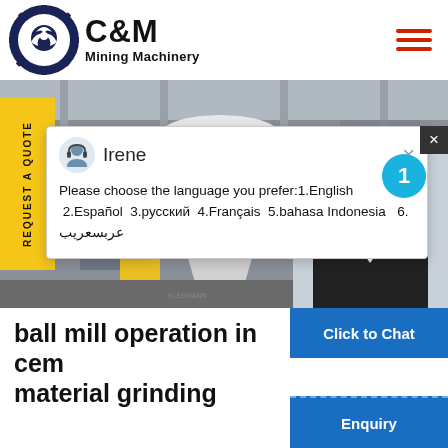C&M Mining Machinery
[Figure (screenshot): C&M Mining Machinery website screenshot showing hero image of mining/grinding machinery, a chat popup from agent Irene asking to choose language (1.English 2.Español 3.русский 4.Français 5.bahasa Indonesia 6. عربسعريب), a 'REQUEST A QUOTE' yellow side tab, a customer service agent photo, a notification badge showing '1', and a 'Click to Chat' button. At the bottom is the beginning of an article title: 'ball mill operation in cement material grinding']
ball mill operation in cement material grinding
Please choose the language you prefer:1.English  2.Español  3.русский  4.Français  5.bahasa Indonesia   6. عربسعريب
Click to Chat
Enquiry